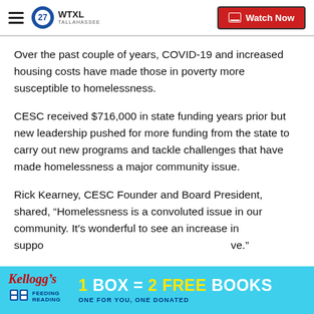WTXL TALLAHASSEE — Watch Now
Over the past couple of years, COVID-19 and increased housing costs have made those in poverty more susceptible to homelessness.
CESC received $716,000 in state funding years prior but new leadership pushed for more funding from the state to carry out new programs and tackle challenges that have made homelessness a major community issue.
Rick Kearney, CESC Founder and Board President, shared, “Homelessness is a convoluted issue in our community. It’s wonderful to see an increase in support... ve.”
[Figure (infographic): Kellogg's Feeding Reading advertisement banner: 1 BOX = 2 FREE BOOKS, ONE FOR YOU, ONE DONATED]